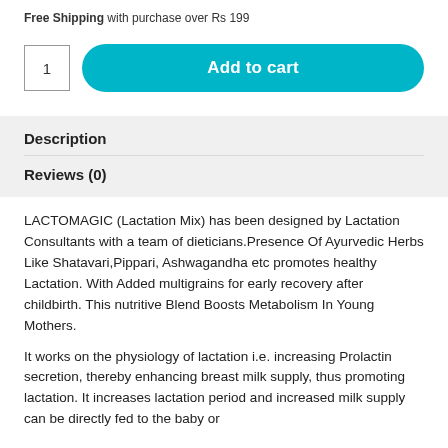Free Shipping with purchase over Rs 199
1   Add to cart
Description
Reviews (0)
LACTOMAGIC (Lactation Mix) has been designed by Lactation Consultants with a team of dieticians.Presence Of Ayurvedic Herbs Like Shatavari,Pippari, Ashwagandha etc promotes healthy Lactation. With Added multigrains for early recovery after childbirth. This nutritive Blend Boosts Metabolism In Young Mothers.
It works on the physiology of lactation i.e. increasing Prolactin secretion, thereby enhancing breast milk supply, thus promoting lactation. It increases lactation period and increased milk supply can be directly fed to the baby or